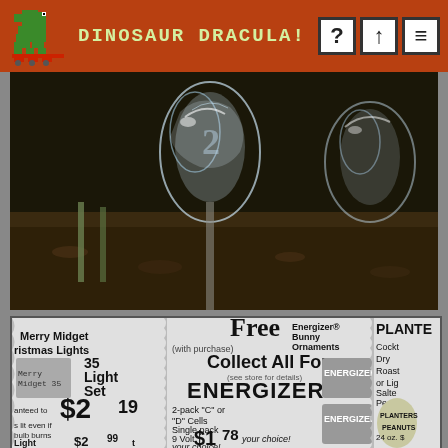DINOSAUR DRACULA!
[Figure (photo): Close-up photograph of glass or crystal decorative figurines against a dark background with soil/gravel]
[Figure (photo): Vintage newspaper advertisement clippings showing: Merry Midget Christmas Lights 35 Light Set $2.19, guaranteed stays lit even if bulb burns, Light Set $2.99, Miniature Style Ring-A-Long Christmas Lights; Free Energizer Bunny Ornaments Collect All Four (see store for details) ENERGIZER 2-pack C or D Cells Single pack 9 Volt your choice! $1.78 each, 4-pack AA or AAA your choice! $0.28; PLANTERS Cocktail Dry Roast or Lightly Salted Peanuts 24 oz. with mail-in rebate price shown]